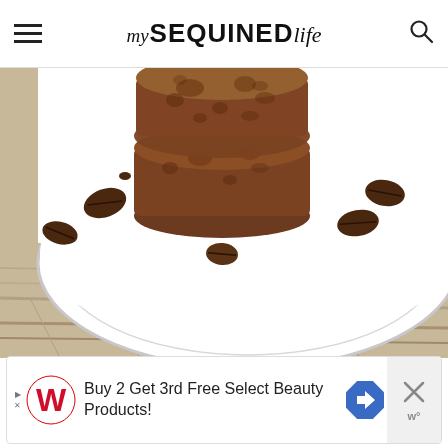my SEQUINED life
[Figure (photo): Stack of chocolate/mocha cookies on a white plate with coffee beans scattered around, on a wooden surface]
Buy 2 Get 3rd Free Select Beauty Products!